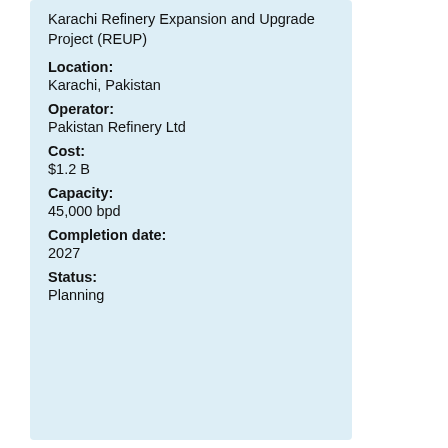Karachi Refinery Expansion and Upgrade Project (REUP)
Location:
Karachi, Pakistan
Operator:
Pakistan Refinery Ltd
Cost:
$1.2 B
Capacity:
45,000 bpd
Completion date:
2027
Status:
Planning